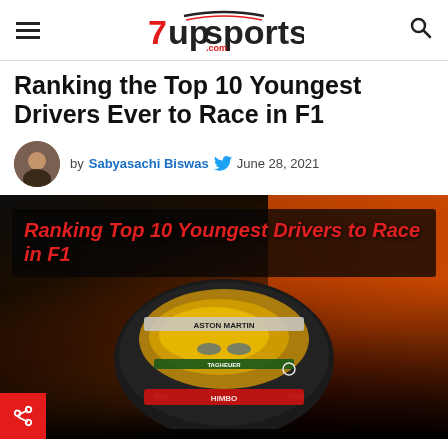7upsports.com
Ranking the Top 10 Youngest Drivers Ever to Race in F1
by Sabyasachi Biswas  June 28, 2021
[Figure (photo): Hero image showing an F1 driver in a Red Bull helmet with ASTON MARTIN branding, with overlaid italic red text reading 'Ranking Top 10 Youngest Drivers to Race in F1' on a dark semi-transparent background. A red share button with a share icon is in the bottom-left corner.]